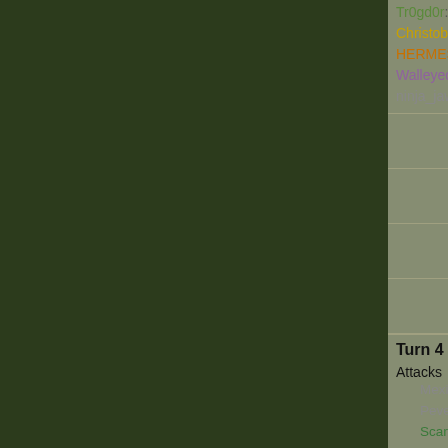Tr0gd0r: 3 new armies (0 ...
Christobal117: 3 new arm...
HERMES: 3 new armies ...
Walleyedgolem: 3 new a...
ninja_jawz: 5 new armies...
ninja_jawz: Hehe, well ditto. Guess I did...
Tr0gd0r: yeah, but for some reason I...
ninja_jawz: I was scattered too :)
Tr0gd0r: man this started off horrible...
Turn 4 Results
Attacks
Mexico w/ 10 armies (6 lo...
Pevek w/ 10 armies (4 lo...
Scandinavia w/ 7 armies...
Quebec w/ 5 armies (1 lo...
Army Bonuses
Jgilliam: 3 new armies (0...
Tr0gd0r: 3 new armies (0...
Christobal117: 3 new arm...
HERMES: 3 new armies...
Walleyedgolem: 3 new a...
ninja_jawz: 5 new armies...
Turn 3 Results